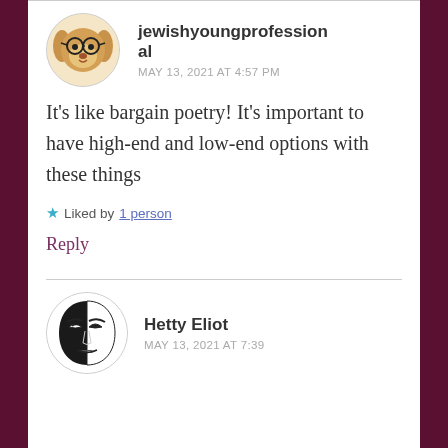[Figure (illustration): Round avatar with cartoon dog wearing glasses, tan/brown color]
jewishyoungprofessional
MAY 13, 2021 AT 4:57 PM
It's like bargain poetry! It's important to have high-end and low-end options with these things
Liked by 1 person
Reply
[Figure (illustration): Round avatar showing a stylized face illustration in black and white]
Hetty Eliot
MAY 13, 2021 AT 7:39